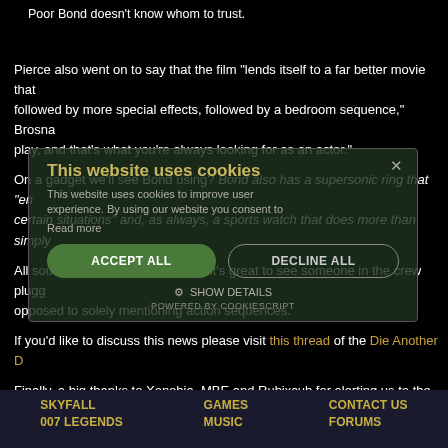Poor Bond doesn't know whom to trust.
Pierce also went on to say that the film "lends itself to a far better movie that followed by more special effects, followed by a bedroom sequence," Brosnan play, and that's what you're always looking for as an actor."
On a gadget we'll see Bond using? Bond also has a supersonic ring that "en certain situations" and, as always, a sports watch that does more than simply
All sounds rather impressive, and it's great to see someone in the crew plugg opposed to solely mentioning action sequences.
If you'd like to discuss this news please visit this thread of the Die Another D
Finally, a big thanks to Xenobia, MBE and Rubixcub for alerting us to the arti
[Figure (screenshot): Cookie consent overlay with title 'This website uses cookies', body text, Read more link, ACCEPT ALL and DECLINE ALL buttons, SHOW DETAILS option, and POWERED BY COOKIESCRIPT footer.]
SKYFALL  007 LEGENDS    GAMES  MUSIC    CONTACT US  FORUMS